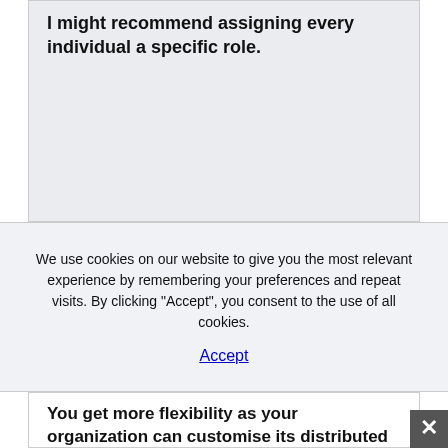I might recommend assigning every individual a specific role.
We use cookies on our website to give you the most relevant experience by remembering your preferences and repeat visits. By clicking “Accept”, you consent to the use of all cookies.
Accept
You get more flexibility as your organization can customise its distributed computing setting to satisfy particular enterprise wants. Get excessive scalability & reliability